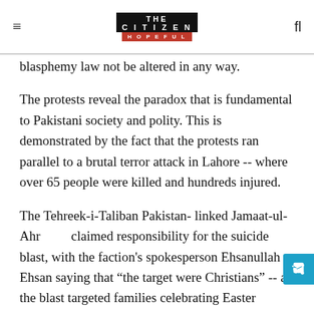THE CITIZEN IS HOPEFUL
blasphemy law not be altered in any way.
The protests reveal the paradox that is fundamental to Pakistani society and polity. This is demonstrated by the fact that the protests ran parallel to a brutal terror attack in Lahore -- where over 65 people were killed and hundreds injured.
The Tehreek-i-Taliban Pakistan- linked Jamaat-ul-Ahrar claimed responsibility for the suicide blast, with the faction's spokesperson Ehsanullah Ehsan saying that “the target were Christians” -- as the blast targeted families celebrating Easter Sunday at Gulshan Iqbal Park.